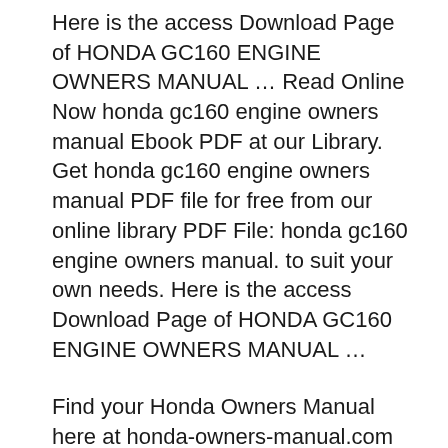Here is the access Download Page of HONDA GC160 ENGINE OWNERS MANUAL … Read Online Now honda gc160 engine owners manual Ebook PDF at our Library. Get honda gc160 engine owners manual PDF file for free from our online library PDF File: honda gc160 engine owners manual. to suit your own needs. Here is the access Download Page of HONDA GC160 ENGINE OWNERS MANUAL …
Find your Honda Owners Manual here at honda-owners-manual.com for Honda Gc190 Owners Manual and you can get it. Search for Honda Gc190 Owners Manual here and subscribe honda-owners-manual.com Honda Gc190